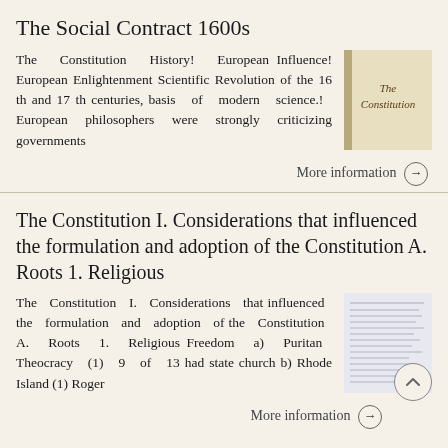The Social Contract 1600s
The Constitution History! European Influence! European Enlightenment Scientific Revolution of the 16 th and 17 th centuries, basis of modern science.! European philosophers were strongly criticizing governments
[Figure (photo): Book cover image showing 'The Constitution' text on a light tan/beige background]
More information →
The Constitution I. Considerations that influenced the formulation and adoption of the Constitution A. Roots 1. Religious
The Constitution I. Considerations that influenced the formulation and adoption of the Constitution A. Roots 1. Religious Freedom a) Puritan Theocracy (1) 9 of 13 had state church b) Rhode Island (1) Roger
[Figure (screenshot): A document or text page with small printed text, appears to be a reference or outline document]
More information →